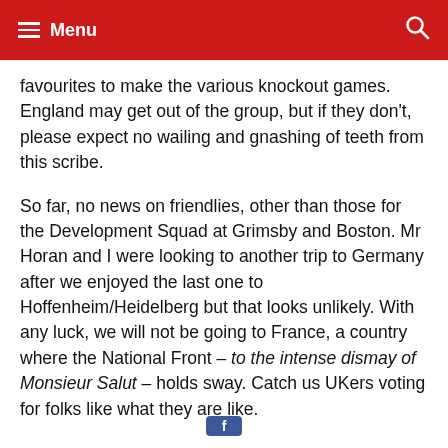Menu
favourites to make the various knockout games. England may get out of the group, but if they don't, please expect no wailing and gnashing of teeth from this scribe.
So far, no news on friendlies, other than those for the Development Squad at Grimsby and Boston. Mr Horan and I were looking to another trip to Germany after we enjoyed the last one to Hoffenheim/Heidelberg but that looks unlikely. With any luck, we will not be going to France, a country where the National Front – to the intense dismay of Monsieur Salut – holds sway. Catch us UKers voting for folks like what they are like.